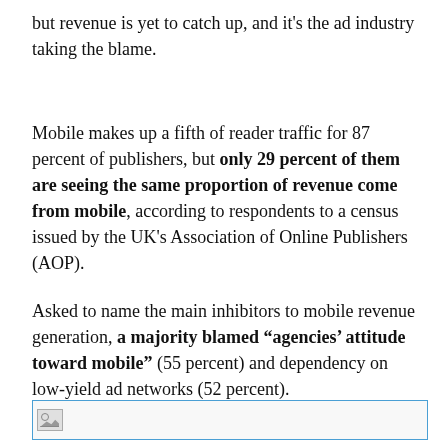but revenue is yet to catch up, and it's the ad industry taking the blame.
Mobile makes up a fifth of reader traffic for 87 percent of publishers, but only 29 percent of them are seeing the same proportion of revenue come from mobile, according to respondents to a census issued by the UK's Association of Online Publishers (AOP).
Asked to name the main inhibitors to mobile revenue generation, a majority blamed “agencies’ attitude toward mobile” (55 percent) and dependency on low-yield ad networks (52 percent).
[Figure (other): Broken image placeholder with blue border, indicating a missing image]